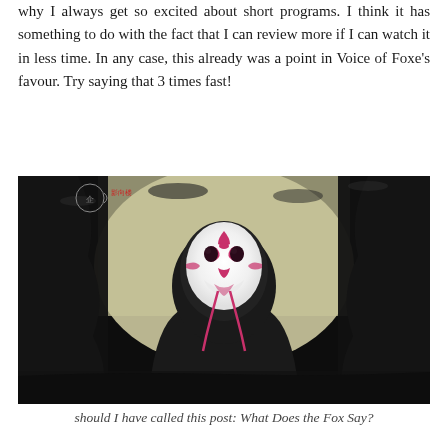why I always get so excited about short programs. I think it has something to do with the fact that I can review more if I can watch it in less time. In any case, this already was a point in Voice of Foxe's favour. Try saying that 3 times fast!
[Figure (illustration): Anime-style illustration of a hooded figure wearing a white fox mask with pink markings, standing in a dark forest background. Small logo/watermark visible in the upper left corner with Chinese characters.]
should I have called this post: What Does the Fox Say?